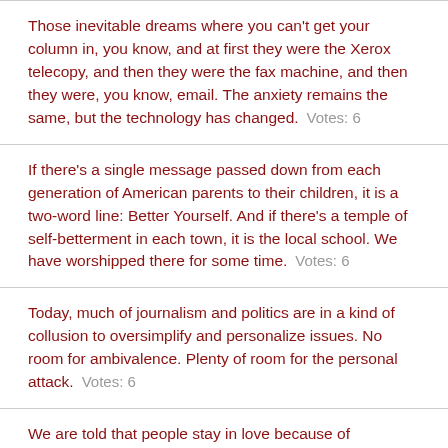Those inevitable dreams where you can't get your column in, you know, and at first they were the Xerox telecopy, and then they were the fax machine, and then they were, you know, email. The anxiety remains the same, but the technology has changed.    Votes: 6
If there's a single message passed down from each generation of American parents to their children, it is a two-word line: Better Yourself. And if there's a temple of self-betterment in each town, it is the local school. We have worshipped there for some time.    Votes: 6
Today, much of journalism and politics are in a kind of collusion to oversimplify and personalize issues. No room for ambivalence. Plenty of room for the personal attack.    Votes: 6
We are told that people stay in love because of...